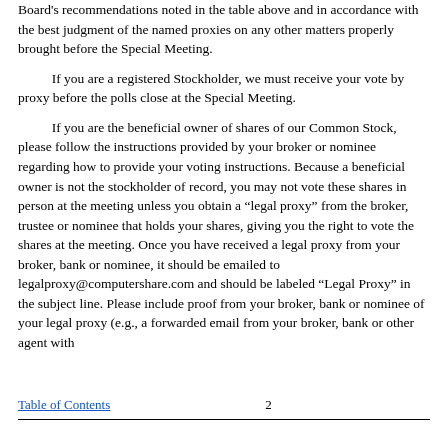Board's recommendations noted in the table above and in accordance with the best judgment of the named proxies on any other matters properly brought before the Special Meeting.
If you are a registered Stockholder, we must receive your vote by proxy before the polls close at the Special Meeting.
If you are the beneficial owner of shares of our Common Stock, please follow the instructions provided by your broker or nominee regarding how to provide your voting instructions. Because a beneficial owner is not the stockholder of record, you may not vote these shares in person at the meeting unless you obtain a “legal proxy” from the broker, trustee or nominee that holds your shares, giving you the right to vote the shares at the meeting. Once you have received a legal proxy from your broker, bank or nominee, it should be emailed to legalproxy@computershare.com and should be labeled “Legal Proxy” in the subject line. Please include proof from your broker, bank or nominee of your legal proxy (e.g., a forwarded email from your broker, bank or other agent with
Table of Contents    2